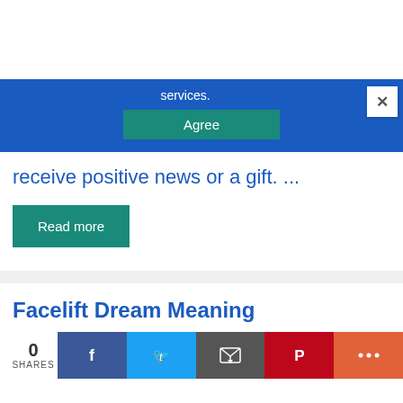services.
[Figure (screenshot): Blue cookie consent bar with 'services.' text, teal 'Agree' button, and white close (X) button]
receive positive news or a gift. ...
Read more
Facelift Dream Meaning
0 SHARES
[Figure (infographic): Social share bar with Facebook, Twitter, Email, Pinterest, and More buttons]